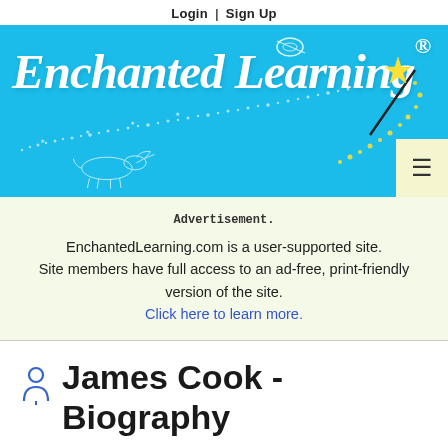Login | Sign Up
[Figure (logo): Enchanted Learning logo on blue background with stars, wand, planet, and dinosaur silhouette]
Advertisement.
EnchantedLearning.com is a user-supported site.
Site members have full access to an ad-free, print-friendly version of the site.
Click here to learn more.
James Cook - Biography